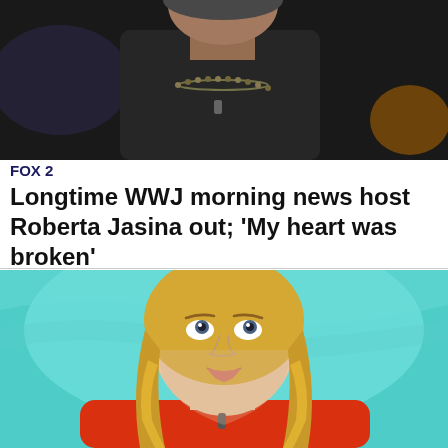[Figure (photo): A woman wearing a dark top and beaded necklace, photographed from the chest up against a dark background, appearing to be a news studio setting.]
FOX 2
Longtime WWJ morning news host Roberta Jasina out; 'My heart was broken'
[Figure (photo): A blonde woman wearing a red top, looking upward, photographed in front of a teal/turquoise background, appearing to be in a television studio setting.]